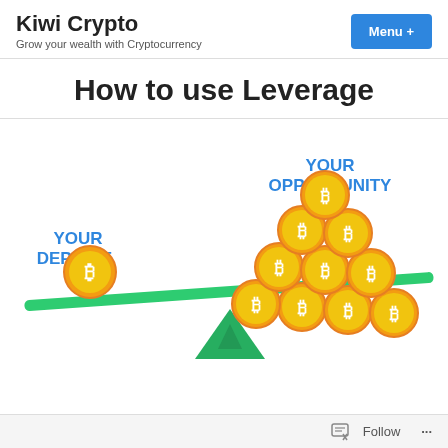Kiwi Crypto – Grow your wealth with Cryptocurrency | Menu +
How to use Leverage
[Figure (infographic): A balance/seesaw infographic illustrating leverage in cryptocurrency trading. On the left side of the seesaw (tilted up) is one gold Bitcoin coin labeled 'YOUR DEPOSIT' in bold blue text. On the right side (tilted down, heavier) is a pyramid of 10 gold Bitcoin coins labeled 'YOUR OPPORTUNITY' in bold blue text above. The seesaw beam is green, supported by a green triangle fulcrum positioned left-of-center. The right side is much heavier, visually demonstrating how leverage multiplies your opportunity relative to your deposit.]
Follow  ...